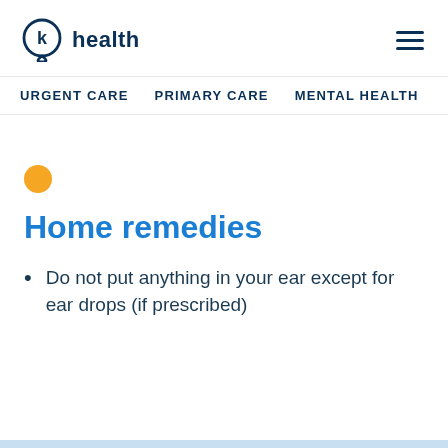k health | URGENT CARE  PRIMARY CARE  MENTAL HEALTH
Home remedies
Do not put anything in your ear except for ear drops (if prescribed)